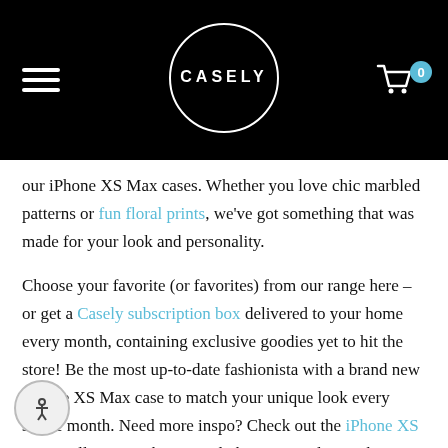Casely – navigation header with logo and cart
our iPhone XS Max cases. Whether you love chic marbled patterns or fun floral prints, we've got something that was made for your look and personality.
Choose your favorite (or favorites) from our range here – or get a Casely subscription box delivered to your home every month, containing exclusive goodies yet to hit the store! Be the most up-to-date fashionista with a brand new iPhone XS Max case to match your unique look every single month. Need more inspo? Check out the iPhone XS cases collection or how Casely have created new phone cases for all of 2018's hottest trends in our blog. All of our cases are created with the latest trends in mind – you can't go wrong with a iPhone case from Casely!
All orders from our website ship same day and come with a